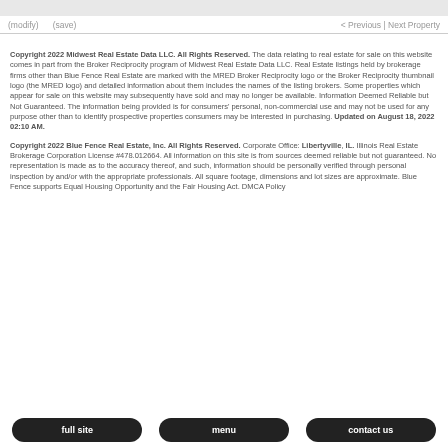(modify)   (save)   < Previous | Next Property
Copyright 2022 Midwest Real Estate Data LLC. All Rights Reserved. The data relating to real estate for sale on this website comes in part from the Broker Reciprocity program of Midwest Real Estate Data LLC. Real Estate listings held by brokerage firms other than Blue Fence Real Estate are marked with the MRED Broker Reciprocity logo or the Broker Reciprocity thumbnail logo (the MRED logo) and detailed information about them includes the names of the listing brokers. Some properties which appear for sale on this website may subsequently have sold and may no longer be available. Information Deemed Reliable but Not Guaranteed. The information being provided is for consumers' personal, non-commercial use and may not be used for any purpose other than to identify prospective properties consumers may be interested in purchasing. Updated on August 18, 2022 02:10 AM.
Copyright 2022 Blue Fence Real Estate, Inc. All Rights Reserved. Corporate Office: Libertyville, IL. Illinois Real Estate Brokerage Corporation License #478.012664. All information on this site is from sources deemed reliable but not guaranteed. No representation is made as to the accuracy thereof, and such, information should be personally verified through personal inspection by and/or with the appropriate professionals. All square footage, dimensions and lot sizes are approximate. Blue Fence supports Equal Housing Opportunity and the Fair Housing Act. DMCA Policy
full site   menu   contact us